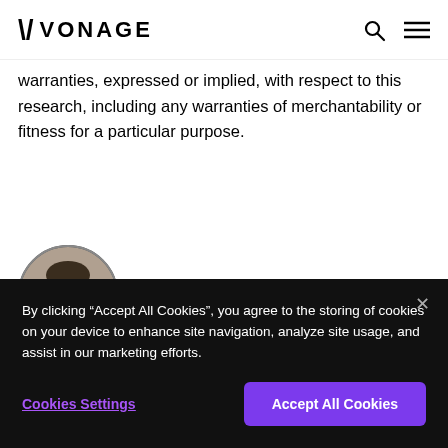VONAGE
warranties, expressed or implied, with respect to this research, including any warranties of merchantability or fitness for a particular purpose.
[Figure (photo): Circular headshot of a smiling man]
By clicking “Accept All Cookies”, you agree to the storing of cookies on your device to enhance site navigation, analyze site usage, and assist in our marketing efforts.
Cookies Settings | Accept All Cookies